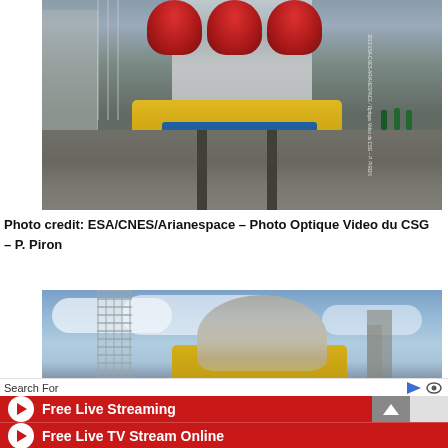[Figure (photo): Soyuz rocket being rolled out to the launch pad at the Guiana Space Centre (CSG). The rocket's red engine nozzles and yellow support structure are visible. Workers and vehicles are visible in the background on a wet tarmac surface. Watermark reads: ESA-CNES-ARIANESPACE / Optique Video du CSG – P. Piron]
Photo credit: ESA/CNES/Arianespace – Photo Optique Video du CSG – P. Piron
[Figure (photo): Close-up of a payload fairing or upper stage assembly on a yellow transport cradle at the launch site, with a lattice tower visible on the left and blue sky with clouds in the background.]
Search For
Free Live Streaming
Free Live TV Stream Online